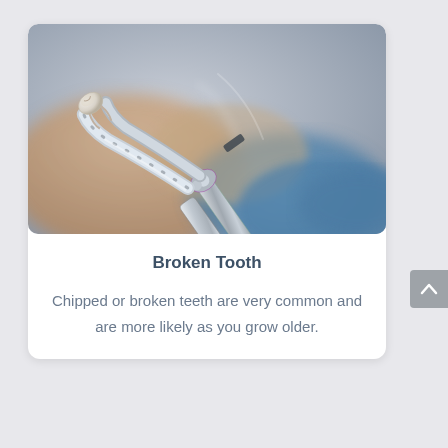[Figure (photo): Close-up photo of dental extraction forceps (pliers) holding a white tooth, with blurred background showing skin tones and a blue gloved hand]
Broken Tooth
Chipped or broken teeth are very common and are more likely as you grow older.